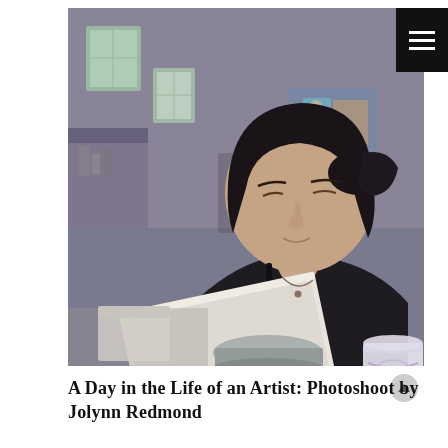[Figure (photo): A young woman with dark hair pulled back, wearing a black sleeveless top, leaning forward and looking down at a canvas or drawing board she holds in her hands. She is in an art studio with blurred background showing shelves, art supplies, chairs, and colorful artwork on the wall. The scene is photographed in a slightly desaturated, moody style.]
A Day in the Life of an Artist: Photoshoot by Jolynn Redmond